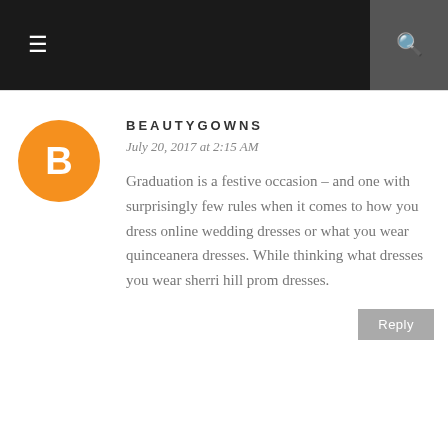≡  [search icon]
BEAUTYGOWNS
July 20, 2017 at 2:15 AM
Graduation is a festive occasion – and one with surprisingly few rules when it comes to how you dress online wedding dresses or what you wear quinceanera dresses. While thinking what dresses you wear sherri hill prom dresses.
Reply